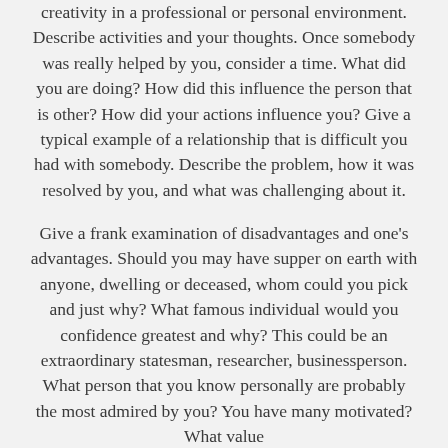creativity in a professional or personal environment. Describe activities and your thoughts. Once somebody was really helped by you, consider a time. What did you are doing? How did this influence the person that is other? How did your actions influence you? Give a typical example of a relationship that is difficult you had with somebody. Describe the problem, how it was resolved by you, and what was challenging about it.
Give a frank examination of disadvantages and one's advantages. Should you may have supper on earth with anyone, dwelling or deceased, whom could you pick and just why? What famous individual would you confidence greatest and why? This could be an extraordinary statesman, researcher, businessperson. What person that you know personally are probably the most admired by you? You have many motivated? What value